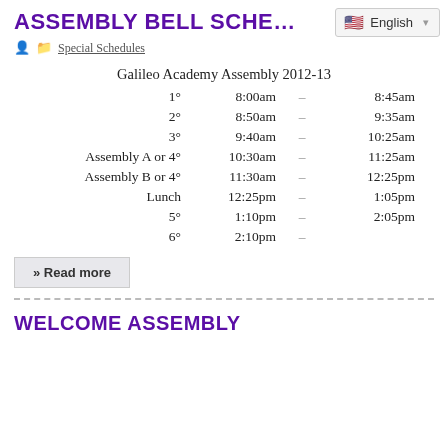ASSEMBLY BELL SCHE…
Special Schedules
| Period | Start |  | End |
| --- | --- | --- | --- |
| Galileo Academy Assembly 2012-13 |  |  |  |
| 1° | 8:00am | – | 8:45am |
| 2° | 8:50am | – | 9:35am |
| 3° | 9:40am | – | 10:25am |
| Assembly A or 4° | 10:30am | – | 11:25am |
| Assembly B or 4° | 11:30am | – | 12:25pm |
| Lunch | 12:25pm | – | 1:05pm |
| 5° | 1:10pm | – | 2:05pm |
| 6° | 2:10pm | – |  |
» Read more
WELCOME ASSEMBLY